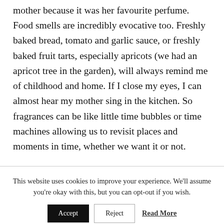mother because it was her favourite perfume. Food smells are incredibly evocative too. Freshly baked bread, tomato and garlic sauce, or freshly baked fruit tarts, especially apricots (we had an apricot tree in the garden), will always remind me of childhood and home. If I close my eyes, I can almost hear my mother sing in the kitchen. So fragrances can be like little time bubbles or time machines allowing us to revisit places and moments in time, whether we want it or not.
This website uses cookies to improve your experience. We'll assume you're okay with this, but you can opt-out if you wish.
Accept  Reject  Read More